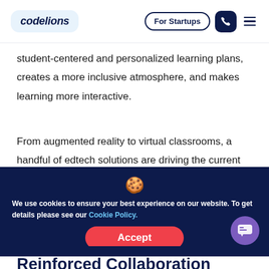codelions | For Startups
student-centered and personalized learning plans, creates a more inclusive atmosphere, and makes learning more interactive.
From augmented reality to virtual classrooms, a handful of edtech solutions are driving the current education
We use cookies to ensure your best experience on our website. To get details please see our Cookie Policy.
Reinforced Collaboration